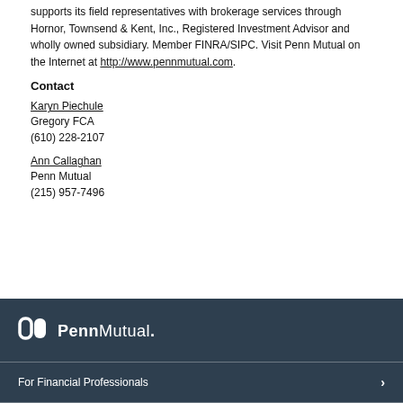supports its field representatives with brokerage services through Hornor, Townsend & Kent, Inc., Registered Investment Advisor and wholly owned subsidiary. Member FINRA/SIPC. Visit Penn Mutual on the Internet at http://www.pennmutual.com.
Contact
Karyn Piechule
Gregory FCA
(610) 228-2107
Ann Callaghan
Penn Mutual
(215) 957-7496
[Figure (logo): Penn Mutual logo in white on dark background]
For Financial Professionals